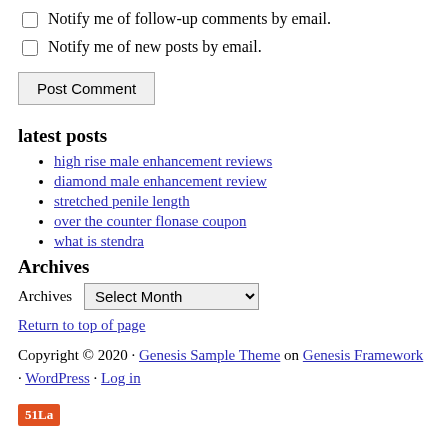Notify me of follow-up comments by email.
Notify me of new posts by email.
Post Comment
latest posts
high rise male enhancement reviews
diamond male enhancement review
stretched penile length
over the counter flonase coupon
what is stendra
Archives
Archives  Select Month
Return to top of page
Copyright © 2020 · Genesis Sample Theme on Genesis Framework · WordPress · Log in